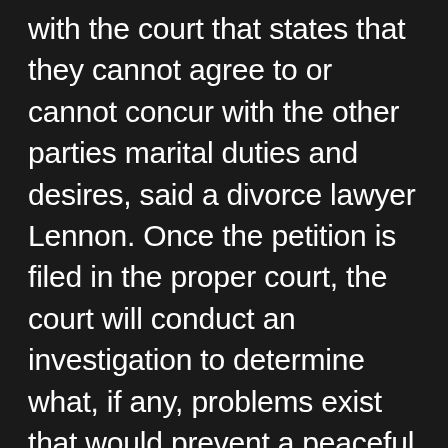with the court that states that they cannot agree to or cannot concur with the other parties marital duties and desires, said a divorce lawyer Lennon. Once the petition is filed in the proper court, the court will conduct an investigation to determine what, if any, problems exist that would prevent a peaceful divorce. In many instances, a divorce can be amicable and both parties can agree to all terms of the divorce. However, there are some cases where there may be no chance for an amicable divorce, especially if the parties involved are of different religions or have different cultural backgrounds.  In these instances, a legal annulment may be required. An annulment is when a court officially re-lists a marriage as null and void because the marriage